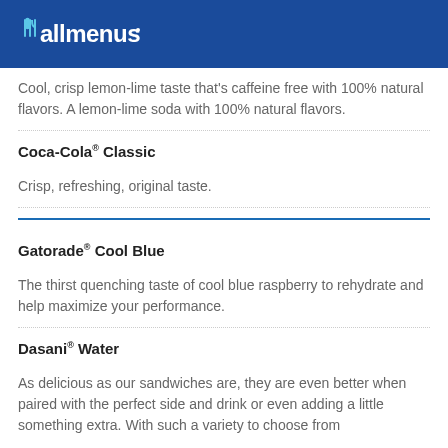allmenus
Cool, crisp lemon-lime taste that's caffeine free with 100% natural flavors. A lemon-lime soda with 100% natural flavors.
Coca-Cola® Classic
Crisp, refreshing, original taste.
Gatorade® Cool Blue
The thirst quenching taste of cool blue raspberry to rehydrate and help maximize your performance.
Dasani® Water
As delicious as our sandwiches are, they are even better when paired with the perfect side and drink or even adding a little something extra. With such a variety to choose from